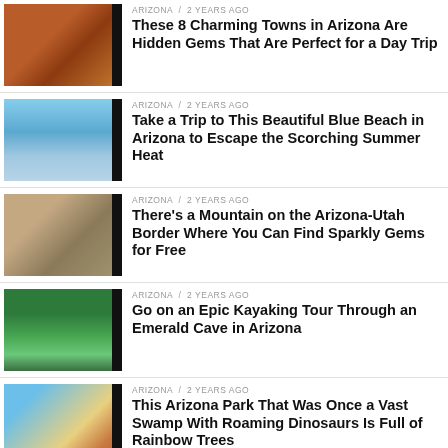ARIZONA / 2 years ago
These 8 Charming Towns in Arizona Are Hidden Gems That Are Perfect for a Day Trip
ARIZONA / 2 years ago
Take a Trip to This Beautiful Blue Beach in Arizona to Escape the Scorching Summer Heat
ARIZONA / 2 years ago
There’s a Mountain on the Arizona-Utah Border Where You Can Find Sparkly Gems for Free
ARIZONA / 2 years ago
Go on an Epic Kayaking Tour Through an Emerald Cave in Arizona
ARIZONA / 2 years ago
This Arizona Park That Was Once a Vast Swamp With Roaming Dinosaurs Is Full of Rainbow Trees